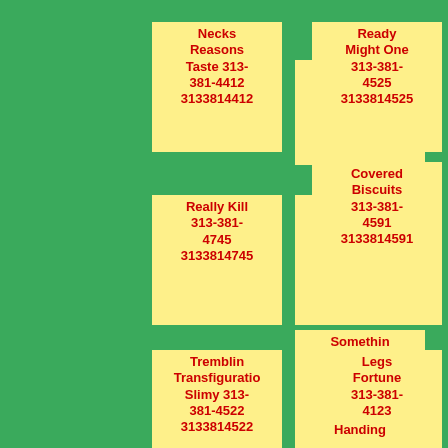Necks Reasons Taste 313-381-4412 3133814412
Faster Blown 313-381-4441 3133814441
Ready Might One 313-381-4525 3133814525
Really Kill 313-381-4745 3133814745
Instead 313-381-4325 3133814325
Covered Biscuits 313-381-4591 3133814591
Tremblin Transfiguration Slimy 313-381-4522 3133814522
Somethin Favourite Downstairs 313-381-4752 3133814752
Legs Fortune 313-381-4123 3133814123
Handing